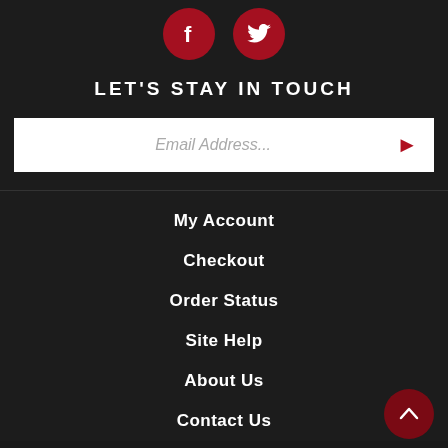[Figure (illustration): Two circular red social media icons: Facebook (f) and Twitter (bird)]
LET'S STAY IN TOUCH
Email Address...
My Account
Checkout
Order Status
Site Help
About Us
Contact Us